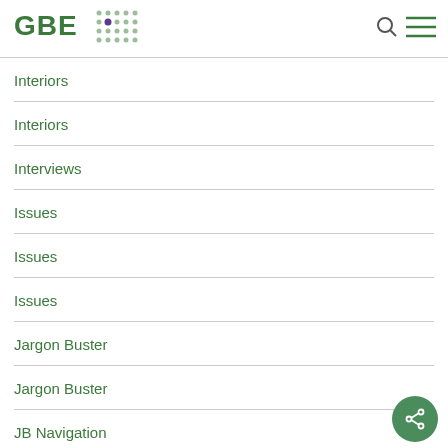GBE
Interiors
Interiors
Interviews
Issues
Issues
Issues
Jargon Buster
Jargon Buster
JB Navigation